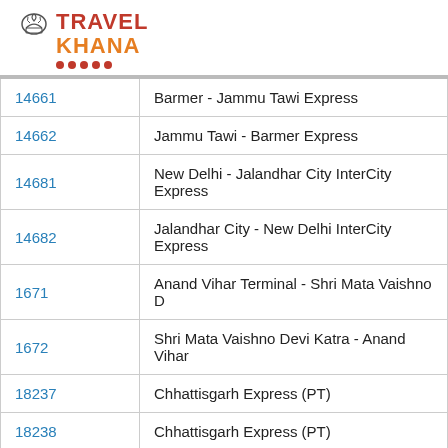[Figure (logo): TravelKhana logo with chef hat icon and red/orange text]
| Train Number | Train Name |
| --- | --- |
| 14661 | Barmer - Jammu Tawi Express |
| 14662 | Jammu Tawi - Barmer Express |
| 14681 | New Delhi - Jalandhar City InterCity Express |
| 14682 | Jalandhar City - New Delhi InterCity Express |
| 1671 | Anand Vihar Terminal - Shri Mata Vaishno D... |
| 1672 | Shri Mata Vaishno Devi Katra - Anand Vihar... |
| 18237 | Chhattisgarh Express (PT) |
| 18238 | Chhattisgarh Express (PT) |
| 18238-Slip | Chhattisgarh Express Slip |
| 18477 | Kalinga Utkal Express (PT) |